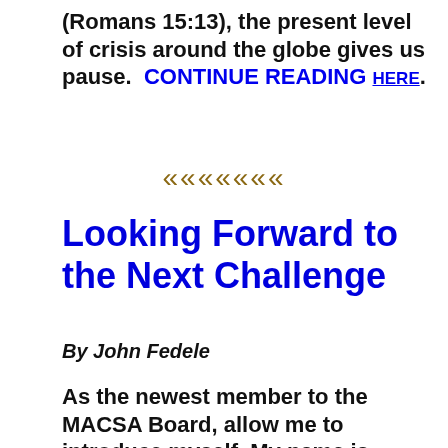(Romans 15:13), the present level of crisis around the globe gives us pause.  CONTINUE READING HERE.
«««««««
Looking Forward to the Next Challenge
By John Fedele
As the newest member to the MACSA Board, allow me to introduce myself. My name is John Fedele and I am honored and excited to be a part of furthering the kingdom of God...